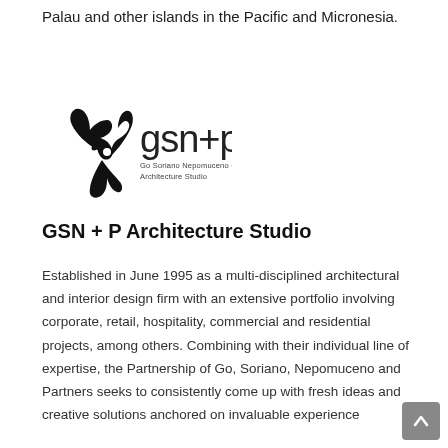Palau and other islands in the Pacific and Micronesia.
[Figure (logo): GSN+P (Go Soriano Nepomuceno + Partners Architecture Studio) logo with decorative botanical/floral emblem and stylized text]
GSN + P Architecture Studio
Established in June 1995 as a multi-disciplined architectural and interior design firm with an extensive portfolio involving corporate, retail, hospitality, commercial and residential projects, among others. Combining with their individual line of expertise, the Partnership of Go, Soriano, Nepomuceno and Partners seeks to consistently come up with fresh ideas and creative solutions anchored on invaluable experience